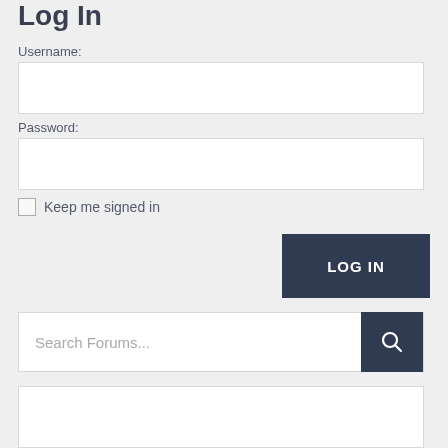Log In
Username:
Password:
Keep me signed in
LOG IN
Search Forums...